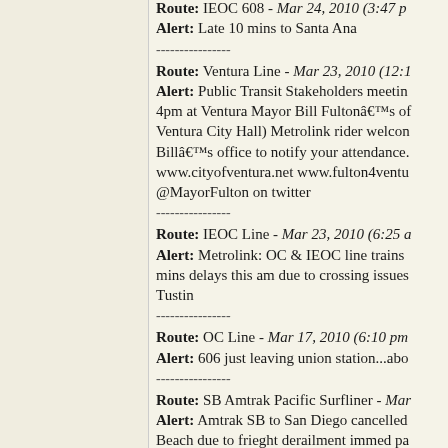Route: IEOC 608 - Mar 24, 2010 (3:47 pm) Alert: Late 10 mins to Santa Ana
Route: Ventura Line - Mar 23, 2010 (12:1...) Alert: Public Transit Stakeholders meeting 4pm at Ventura Mayor Bill Fulton’s office (Ventura City Hall) Metrolink rider welcome Bill’s office to notify your attendance. www.cityofventura.net www.fulton4ventura @MayorFulton on twitter
Route: IEOC Line - Mar 23, 2010 (6:25 a...) Alert: Metrolink: OC & IEOC line trains mins delays this am due to crossing issues Tustin
Route: OC Line - Mar 17, 2010 (6:10 pm) Alert: 606 just leaving union station...abo
Route: SB Amtrak Pacific Surfliner - Mar... Alert: Amtrak SB to San Diego cancelled Beach due to frieght derailment immed pa
Route: SB - Mar 15, 2010 (4:58 pm) Alert: Train 320 on the move.